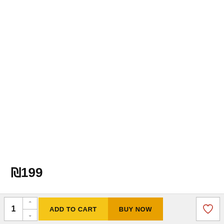₪199
Choose a color *
1  ADD TO CART  BUY NOW